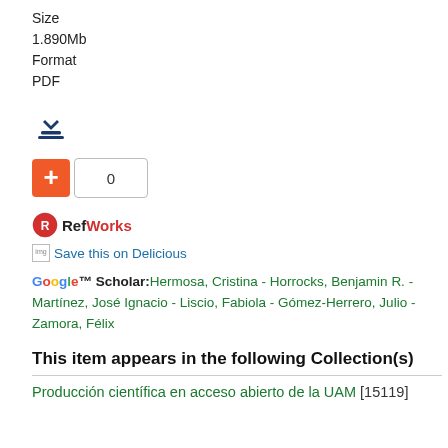Size
1.890Mb
Format
PDF
[Figure (other): Download icon - dark blue arrow pointing down with a tray/bar beneath it]
[Figure (other): Orange plus/add button followed by a count box showing 0]
[Figure (logo): RefWorks logo - red circular icon with R and text RefWorks in red and black]
Save this on Delicious
Google™ Scholar: Hermosa, Cristina - Horrocks, Benjamin R. - Martínez, José Ignacio - Liscio, Fabiola - Gómez-Herrero, Julio - Zamora, Félix
This item appears in the following Collection(s)
Producción científica en acceso abierto de la UAM [15119]